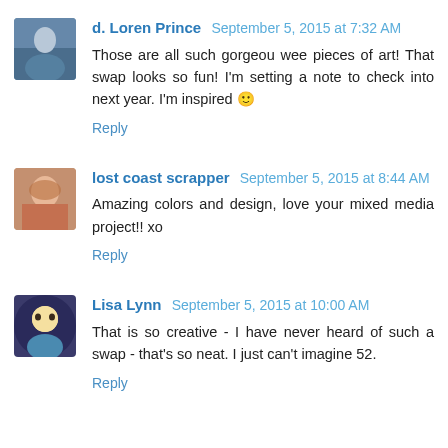d. Loren Prince  September 5, 2015 at 7:32 AM
Those are all such gorgeou wee pieces of art! That swap looks so fun! I'm setting a note to check into next year. I'm inspired 🙂
Reply
lost coast scrapper  September 5, 2015 at 8:44 AM
Amazing colors and design, love your mixed media project!! xo
Reply
Lisa Lynn  September 5, 2015 at 10:00 AM
That is so creative - I have never heard of such a swap - that's so neat. I just can't imagine 52.
Reply